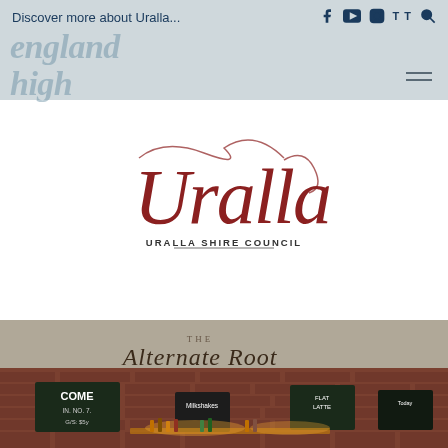Discover more about Uralla...
[Figure (logo): Uralla Shire Council logo - cursive red/maroon script reading 'Uralla' with 'URALLA SHIRE COUNCIL' in small caps below]
[Figure (photo): Interior photo of The Alternate Root cafe/bar showing brick wall with cursive signage 'The Alternate Root', chalkboard menus, and bar shelving with bottles and warm lighting]